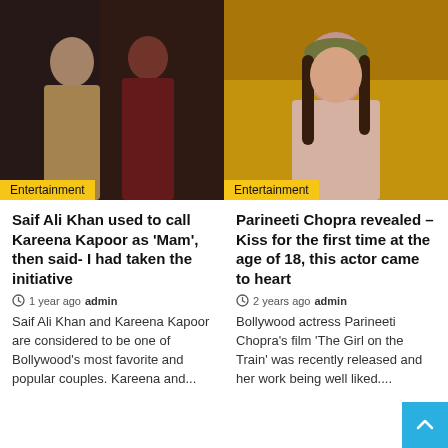[Figure (photo): Photo of Kareena Kapoor and Saif Ali Khan in traditional Indian attire, with Entertainment badge overlay]
[Figure (photo): Photo of Parineeti Chopra smiling outdoors with yellow background, with Entertainment badge overlay]
Saif Ali Khan used to call Kareena Kapoor as 'Mam', then said- I had taken the initiative
1 year ago  admin
Saif Ali Khan and Kareena Kapoor are considered to be one of Bollywood's most favorite and popular couples. Kareena and...
Parineeti Chopra revealed – Kiss for the first time at the age of 18, this actor came to heart
2 years ago  admin
Bollywood actress Parineeti Chopra's film 'The Girl on the Train' was recently released and her work being well liked....